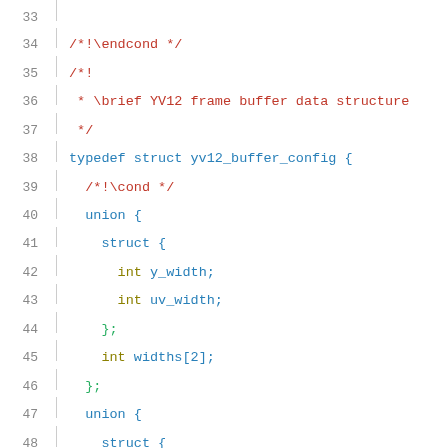[Figure (screenshot): Source code listing showing lines 33-54 of a C header file defining yv12_buffer_config struct with union members for y_width, uv_width, y_height, uv_height, widths[2], and heights[2].]